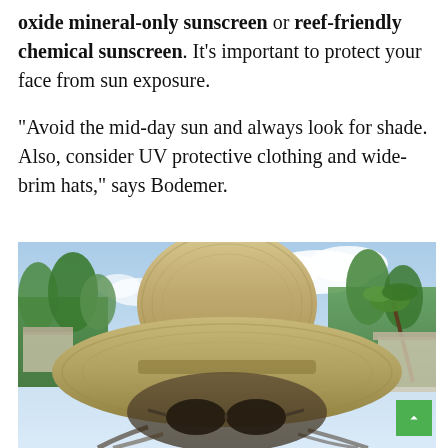oxide mineral-only sunscreen or reef-friendly chemical sunscreen. It's important to protect your face from sun exposure.

"Avoid the mid-day sun and always look for shade. Also, consider UV protective clothing and wide-brim hats," says Bodemer.
[Figure (photo): A person wearing a large wide-brim straw hat and sunglasses, photographed from below against a blue sky with clouds, green palm trees and tropical vegetation in the background.]